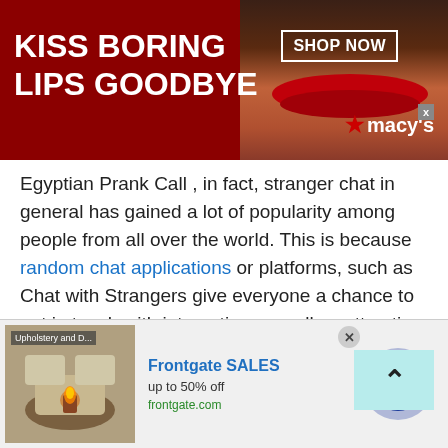[Figure (illustration): Macy's advertisement banner with red background showing a woman's face with red lips, text 'KISS BORING LIPS GOODBYE', 'SHOP NOW' button, and Macy's logo with star.]
Egyptian Prank Call , in fact, stranger chat in general has gained a lot of popularity among people from all over the world. This is because random chat applications or platforms, such as Chat with Strangers give everyone a chance to get in touch with interesting as well as attractive people. There are several reasons why Talkwithstranger has seen a spike in the number of users on our platform. The developers of this platform aim to:
Enable People to Make New Connections
[Figure (illustration): Frontgate SALES advertisement showing outdoor furniture with fire pit. Text: 'Frontgate SALES', 'up to 50% off', 'frontgate.com'. Has a close button and a blue circular arrow button.]